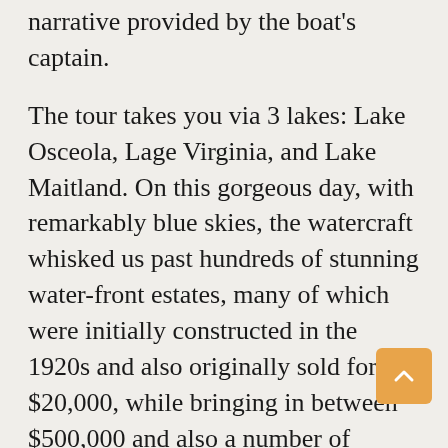narrative provided by the boat's captain.

The tour takes you via 3 lakes: Lake Osceola, Lage Virginia, and Lake Maitland. On this gorgeous day, with remarkably blue skies, the watercraft whisked us past hundreds of stunning water-front estates, many of which were initially constructed in the 1920s and also originally sold for $20,000, while bringing in between $500,000 and also a number of million in today's thriving Main Florida real estate market. Also, boathouses are worth between $30,000 and $40,000.

In Lake Virginia, we came up near to the grounds of Rollins University, among the leading-rated personal liberal arts colleges in the South Eastern United S...